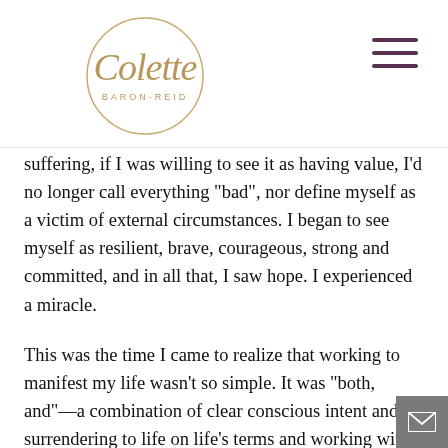Colette Baron-Reid
suffering, if I was willing to see it as having value, I'd no longer call everything “bad”, nor define myself as a victim of external circumstances. I began to see myself as resilient, brave, courageous, strong and committed, and in all that, I saw hope. I experienced a miracle.
This was the time I came to realize that working to manifest my life wasn’t so simple. It was “both, and”—a combination of clear conscious intent and surrendering to life on life’s terms and working within that fated environment. The form of my desires was not as important as their essence, and although that took a long time for me to understand, it’s the single most important lesson I learned. Life was not always going to be kind but I could cultivate compassion for myself and others, and my job was to show up, and do the internal work if I wanted to see the external change. Of course, the less I